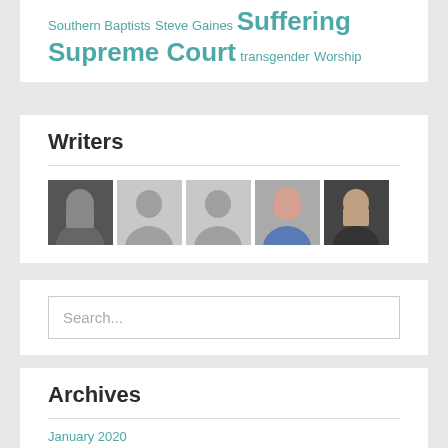Southern Baptists Steve Gaines Suffering Supreme Court transgender Worship
Writers
[Figure (photo): Five writer avatar photos/silhouettes in a row: one real photo of a man, two gray silhouette placeholders, one real photo of a woman, one real photo of a man]
Search...
Archives
January 2020
December 2019